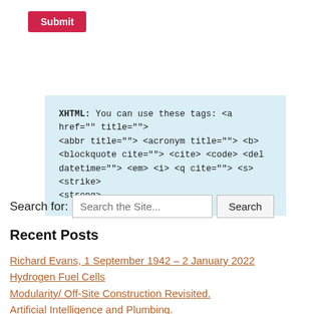Submit
XHTML: You can use these tags: <a href="" title=""> <abbr title=""> <acronym title=""> <b> <blockquote cite=""> <cite> <code> <del datetime=""> <em> <i> <q cite=""> <s> <strike> <strong>
Search for:
Search the Site...
Search
Recent Posts
Richard Evans, 1 September 1942 – 2 January 2022
Hydrogen Fuel Cells
Modularity/ Off-Site Construction Revisited.
Artificial Intelligence and Plumbing.